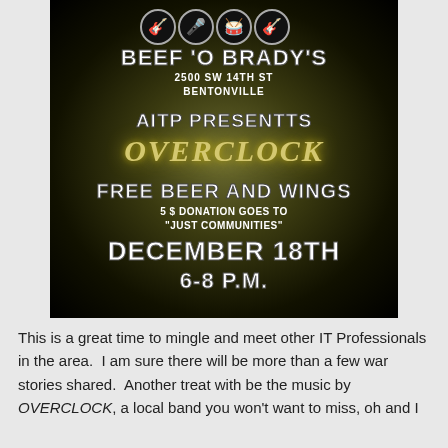[Figure (illustration): Event flyer on dark olive/black radial gradient background. Shows band icons (guitar, microphone, drums, guitar), venue name BEEF 'O BRADY'S at 2500 SW 14TH ST BENTONVILLE, AITP PRESENTTS, OVERCLOCK in stylized gold text, FREE BEER AND WINGS, 5$ DONATION GOES TO 'JUST COMMUNITIES', DECEMBER 18TH, 6-8 P.M.]
This is a great time to mingle and meet other IT Professionals in the area.  I am sure there will be more than a few war stories shared.  Another treat with be the music by OVERCLOCK, a local band you won't want to miss, oh and I